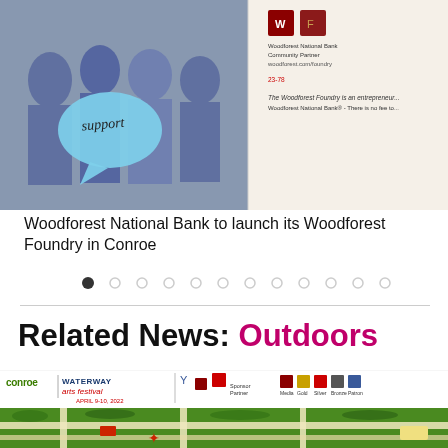[Figure (photo): Left half: group of people holding a speech bubble sign that says 'support'. Right half: Woodforest National Bank promotional material with logos and text.]
Woodforest National Bank to launch its Woodforest Foundry in Conroe
[Figure (infographic): Carousel navigation dots — 12 dots in a row, first one filled/active (black), rest are grey outlines.]
Related News: Outdoors
[Figure (infographic): Conroe Waterway Arts Festival banner with logos, times (10 AM – 6 PM, Festival Arts Access 8 AM – 10 AM), sponsor icons, and a map showing the festival grounds.]